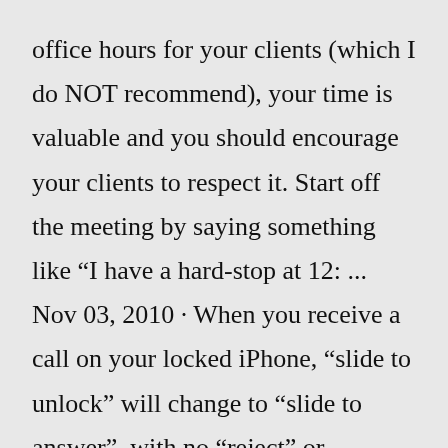office hours for your clients (which I do NOT recommend), your time is valuable and you should encourage your clients to respect it. Start off the meeting by saying something like “I have a hard-stop at 12: ... Nov 03, 2010 · When you receive a call on your locked iPhone, “slide to unlock” will change to “slide to answer”, with no “reject” or "ignore" option in sight, but you can still do it: To ignore/silence an